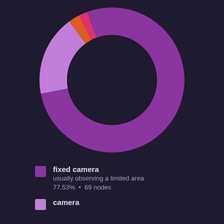[Figure (donut-chart): Camera node types]
fixed camera
usually observing a limited area
77.53%  •  69 nodes
camera